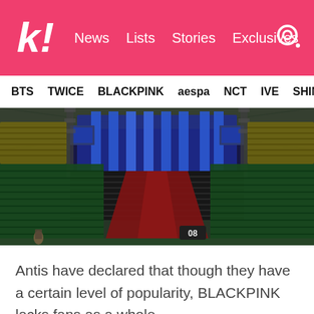k! News Lists Stories Exclusives
BTS TWICE BLACKPINK aespa NCT IVE SHINE
[Figure (photo): Interior of a large empty concert arena/stadium with green and yellow seats, a stage with blue lighting towers and large screens at the far end, red carpet aisle in the center, seat number 08 visible in foreground.]
Antis have declared that though they have a certain level of popularity, BLACKPINK lacks fans as a whole.